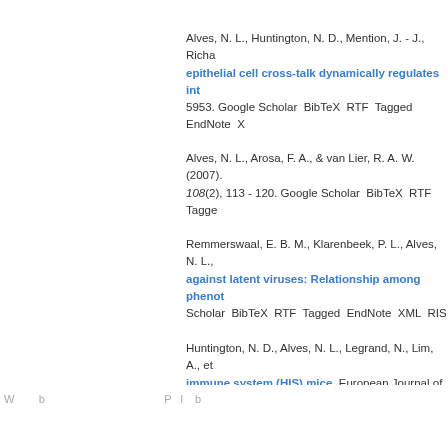Alves, N. L., Huntington, N. D., Mention, J. - J., Richa... epithelial cell cross-talk dynamically regulates int... 5953. Google Scholar BibTeX RTF Tagged EndNote X...
Alves, N. L., Arosa, F. A., & van Lier, R. A. W. (2007). 108(2), 113 - 120. Google Scholar BibTeX RTF Tagged...
Remmerswaal, E. B. M., Klarenbeek, P. L., Alves, N. L.,... against latent viruses: Relationship among phenot... Scholar BibTeX RTF Tagged EndNote XML RIS
Huntington, N. D., Alves, N. L., Legrand, N., Lim, A., et... immune system (HIS) mice. European Journal of Imm... XML RIS
HOME | SI...